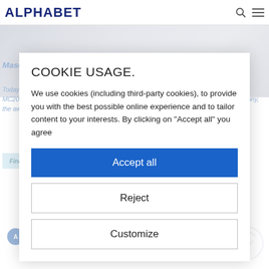ALPHABET
COOKIE USAGE.
We use cookies (including third-party cookies), to provide you with the best possible online experience and to tailor content to your interests. By clicking on "Accept all" you agree
Accept all
Reject
Customize